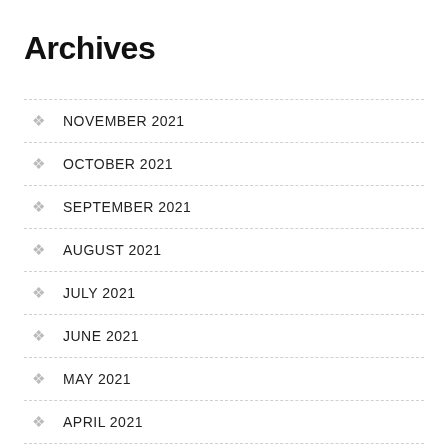Archives
NOVEMBER 2021
OCTOBER 2021
SEPTEMBER 2021
AUGUST 2021
JULY 2021
JUNE 2021
MAY 2021
APRIL 2021
MARCH 2021
FEBRUARY 2021